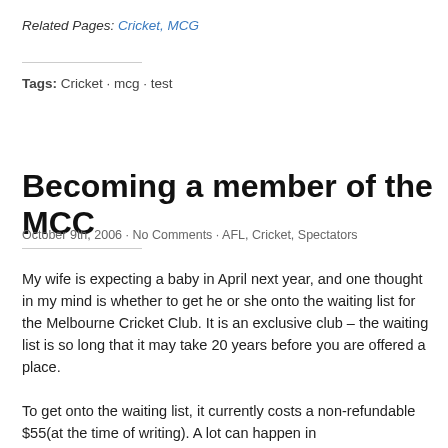Related Pages: Cricket, MCG
Tags: Cricket · mcg · test
Becoming a member of the MCC
October 9th, 2006 · No Comments · AFL, Cricket, Spectators
My wife is expecting a baby in April next year, and one thought in my mind is whether to get he or she onto the waiting list for the Melbourne Cricket Club. It is an exclusive club – the waiting list is so long that it may take 20 years before you are offered a place.
To get onto the waiting list, it currently costs a non-refundable $55(at the time of writing). A lot can happen in